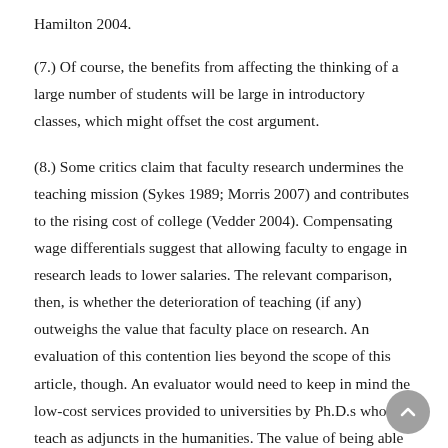Hamilton 2004.
(7.) Of course, the benefits from affecting the thinking of a large number of students will be large in introductory classes, which might offset the cost argument.
(8.) Some critics claim that faculty research undermines the teaching mission (Sykes 1989; Morris 2007) and contributes to the rising cost of college (Vedder 2004). Compensating wage differentials suggest that allowing faculty to engage in research leads to lower salaries. The relevant comparison, then, is whether the deterioration of teaching (if any) outweighs the value that faculty place on research. An evaluation of this contention lies beyond the scope of this article, though. An evaluator would need to keep in mind the low-cost services provided to universities by Ph.D.s who teach as adjuncts in the humanities. The value of being able